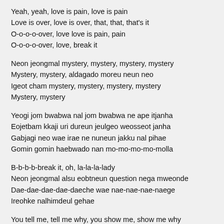Yeah, yeah, love is pain, love is pain
Love is over, love is over, that, that, that's it
O-o-o-o-over, love love is pain, pain
O-o-o-o-over, love, break it
Neon jeongmal mystery, mystery, mystery, mystery
Mystery, mystery, aldagado moreu neun neo
Igeot cham mystery, mystery, mystery, mystery
Mystery, mystery
Yeogi jom bwabwa nal jom bwabwa ne ape itjanha
Eojetbam kkaji uri dureun jeulgeo weosseot janha
Gabjagi neo wae irae ne nuneun jakku nal pihae
Gomin gomin haebwado nan mo-mo-mo-mo-molla
B-b-b-b-break it, oh, la-la-la-lady
Neon jeongmal alsu eobtneun question nega mweonde
Dae-dae-dae-dae-daeche wae nae-nae-nae-naege
Ireohke nalhimdeul gehae
You tell me, tell me why, you show me, show me why
Neon wae geureoni daeche nan hante why
You tell me, tell me why, you show me, show me why
Cham simani neona gireun eobtni i i i